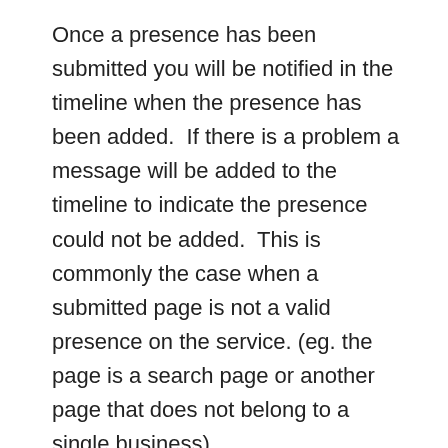Once a presence has been submitted you will be notified in the timeline when the presence has been added.  If there is a problem a message will be added to the timeline to indicate the presence could not be added.  This is commonly the case when a submitted page is not a valid presence on the service. (eg. the page is a search page or another page that does not belong to a single business).
If a page is submitted that does not correspond to a known service it will be added as a clipping so it can be managed.
To add a new Presence use one of the